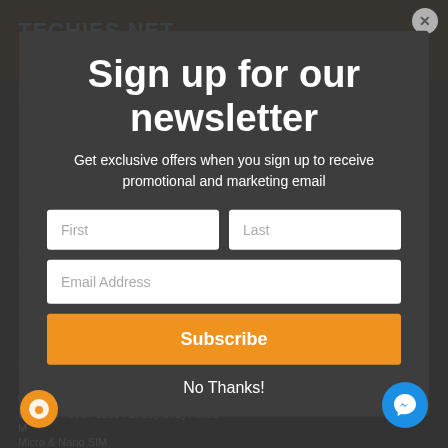TECHIES NET
review of this product.
HTC One (M8) Dual SIM - Full Phone
Specifications
GSM 850 / 900 / 1800 / 1900 - SIM 1 & SIM 2
4G Network
LTE 800 / 900 / 1800 / 1700(AWS) FMC8
M
Micro & Nano SIM
[Figure (screenshot): Newsletter signup modal overlay on a tech website (Techies Net). The modal contains a title 'Sign up for our newsletter', subtitle text, First/Last name fields, Email Address field, a Subscribe button, and a No Thanks link. Background shows HTC One (M8) Dual SIM phone specs page.]
Sign up for our newsletter
Get exclusive offers when you sign up to receive promotional and marketing email
First
Last
Email Address
Subscribe
No Thanks!